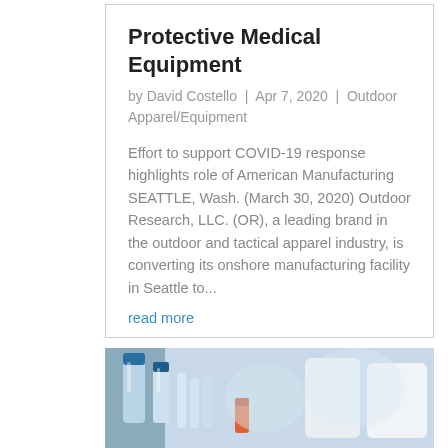Protective Medical Equipment
by David Costello | Apr 7, 2020 | Outdoor Apparel/Equipment
Effort to support COVID-19 response highlights role of American Manufacturing  SEATTLE, Wash. (March 30, 2020) Outdoor Research, LLC. (OR), a leading brand in the outdoor and tactical apparel industry, is converting its onshore manufacturing facility in Seattle to...
read more
[Figure (photo): Close-up photo of laboratory vials and bottles including blue-capped tubes, test tubes, and white containers, suggesting a medical/pharmaceutical setting.]